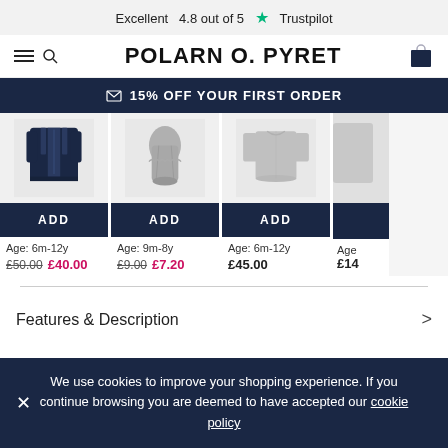Excellent 4.8 out of 5 ★ Trustpilot
POLARN O. PYRET
✉ 15% OFF YOUR FIRST ORDER
[Figure (photo): Dark navy zip-up jacket for children]
ADD
Age: 6m-12y
£50.00  £40.00
[Figure (photo): Grey children's knit leggings/pants]
ADD
Age: 9m-8y
£9.00  £7.20
[Figure (photo): Grey long sleeve children's top/shirt]
ADD
Age: 6m-12y
£45.00
[Figure (photo): Partially visible children's garment]
Age
£14
Features & Description
We use cookies to improve your shopping experience. If you continue browsing you are deemed to have accepted our cookie policy